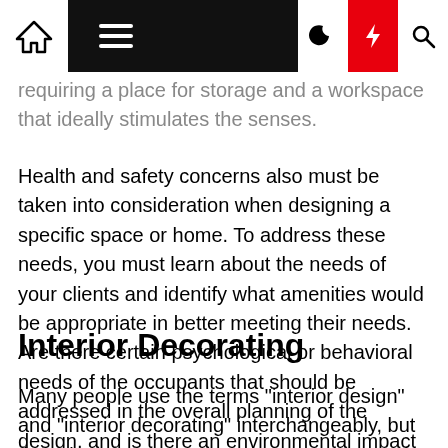[Navigation bar with home, menu, dark mode, lightning, search icons]
requiring a place for storage and a workspace that ideally stimulates the senses.
Health and safety concerns also must be taken into consideration when designing a specific space or home. To address these needs, you must learn about the needs of your clients and identify what amenities would be appropriate in better meeting their needs. Are there certain psychological or behavioral needs of the occupants that should be addressed in the overall planning of the design, and is there an environmental impact on the way that the design is created?
Interior Decorating
Many people use the terms "interior design" and "interior decorating" interchangeably, but there is a